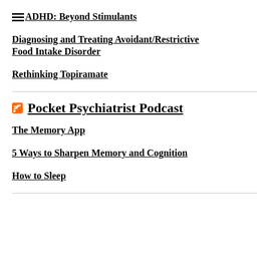ADHD: Beyond Stimulants
Diagnosing and Treating Avoidant/Restrictive Food Intake Disorder
Rethinking Topiramate
Pocket Psychiatrist Podcast
The Memory App
5 Ways to Sharpen Memory and Cognition
How to Sleep